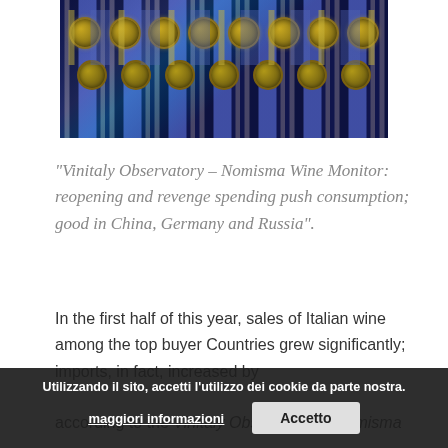[Figure (photo): Close-up photo of wine bottles stored in a rack, illuminated by blue light, showing the golden foil caps/tops of the bottles arranged in rows.]
“Vinitaly Observatory – Nomisma Wine Monitor: reopening and revenge spending push consumption; good in China, Germany and Russia”.
In the first half of this year, sales of Italian wine among the top buyer Countries grew significantly; imports, in fact, increased by
and by +16.8% on 2019. As a result,
according to the Vinitaly Observatory – Nomisma